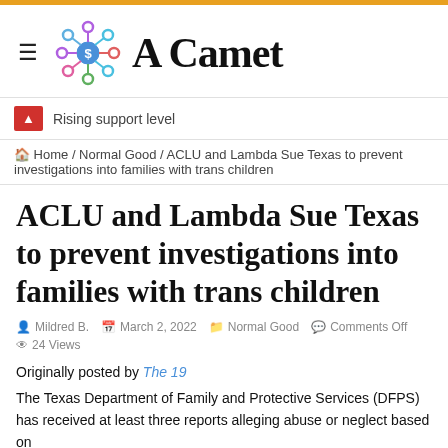A Camet
Rising support level
🏠 Home / Normal Good / ACLU and Lambda Sue Texas to prevent investigations into families with trans children
ACLU and Lambda Sue Texas to prevent investigations into families with trans children
Mildred B.  March 2, 2022  Normal Good  Comments Off  24 Views
Originally posted by The 19
The Texas Department of Family and Protective Services (DFPS) has received at least three reports alleging abuse or neglect based on